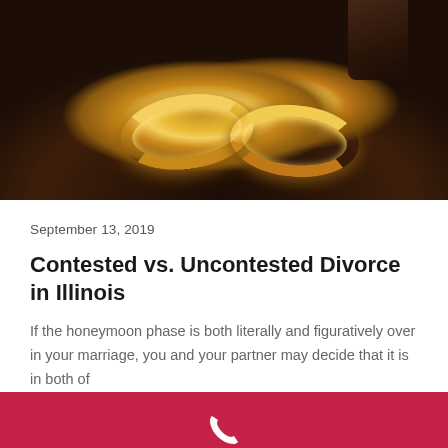[Figure (photo): Close-up photo of two gold wedding rings resting on a dark surface (gavel/wooden plate background), with a wooden gavel partially visible at top right.]
September 13, 2019
Contested vs. Uncontested Divorce in Illinois
If the honeymoon phase is both literally and figuratively over in your marriage, you and your partner may decide that it is in both of
Get a Free Case Review